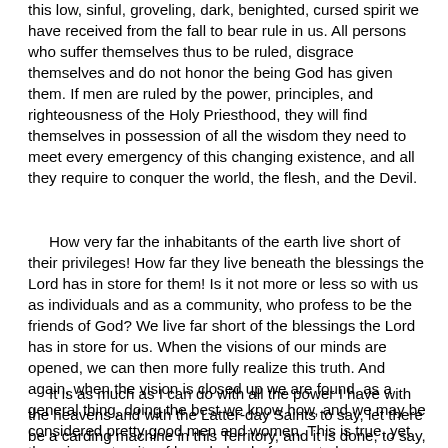this low, sinful, groveling, dark, benighted, cursed spirit we have received from the fall to bear rule in us. All persons who suffer themselves thus to be ruled, disgrace themselves and do not honor the being God has given them. If men are ruled by the power, principles, and righteousness of the Holy Priesthood, they will find themselves in possession of all the wisdom they need to meet every emergency of this changing existence, and all they require to conquer the world, the flesh, and the Devil.
How very far the inhabitants of the earth live short of their privileges! How far they live beneath the blessings the Lord has in store for them! Is it not more or less so with us as individuals and as a community, who profess to be the friends of God? We live far short of the blessings the Lord has in store for us. When the visions of our minds are opened, we can then more fully realize this truth. And again, when the vision is closed up we are found, as a general thing, doing the best we know how, and we may be considered pretty good men and women. This is true, yet there is an eternity of knowledge before us to learn.
It is as much as I can do with all the power I have with the heavens and with the Latter-day Saints to say, let there be a carding machine in this Territory, and it is done; to say, let there be a nail factory in this Territory, and it is here. Again, all that has